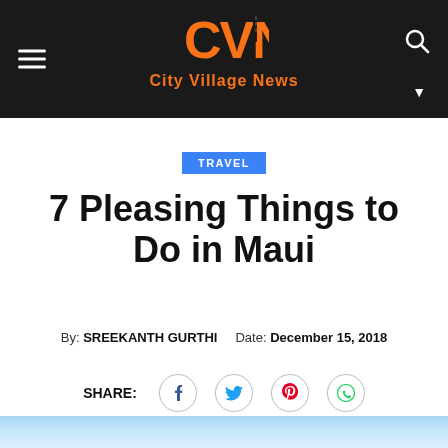City Village News
TRAVEL
7 Pleasing Things to Do in Maui
By: SREEKANTH GURTHI   Date: December 15, 2018
SHARE: